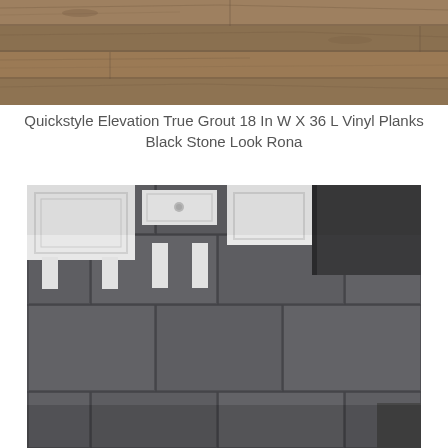[Figure (photo): Top portion of a photo showing wood-look flooring planks in a warm brown/grey tone, viewed from above at an angle.]
Quickstyle Elevation True Grout 18 In W X 36 L Vinyl Planks Black Stone Look Rona
[Figure (photo): Photo of a bathroom or utility room showing dark grey slate-look large format vinyl tile flooring installed in a staggered pattern. White painted cabinet legs visible in the background. A dark wall or cabinet base is visible in the upper right corner.]